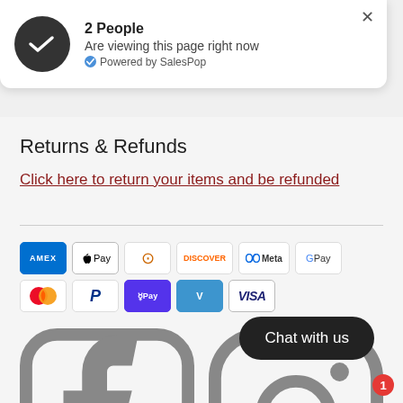[Figure (infographic): SalesPop popup notification showing 2 People are viewing this page right now, with a dark circular icon with a checkmark/wave graphic, and a close X button. Powered by SalesPop.]
Returns & Refunds
Click here to return your items and be refunded
[Figure (infographic): Payment method icons: American Express, Apple Pay, Diners Club, Discover, Meta Pay, Google Pay, Mastercard, PayPal, Shop Pay, Venmo, Visa]
[Figure (infographic): Social media icons: Facebook and Instagram]
Copyright © 2022, Affordable Chic. Affordable Chic LLC